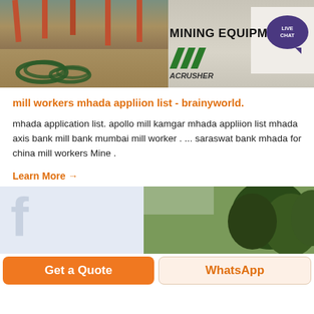[Figure (photo): Mining equipment site photo with industrial machinery, hoses on left side, and MINING EQUIPMENT ACRUSHER logo/sign on right side with green diagonal bars, plus LIVE CHAT bubble overlay]
mill workers mhada appliion list - brainyworld.
mhada application list. apollo mill kamgar mhada appliion list mhada axis bank mill bank mumbai mill worker . ... saraswat bank mhada for china mill workers Mine .
Learn More →
[Figure (photo): Bottom image split: left side shows a light blue/grey placeholder icon, right side shows green trees/foliage]
Get a Quote
WhatsApp